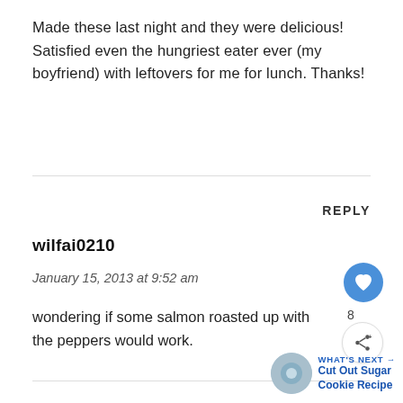Made these last night and they were delicious! Satisfied even the hungriest eater ever (my boyfriend) with leftovers for me for lunch. Thanks!
REPLY
wilfai0210
January 15, 2013 at 9:52 am
wondering if some salmon roasted up with the peppers would work.
[Figure (other): Heart like button (blue circle with white heart icon) with count 8, and share button (circle with share icon)]
[Figure (other): WHAT'S NEXT → Cut Out Sugar Cookie Recipe thumbnail with circular image]